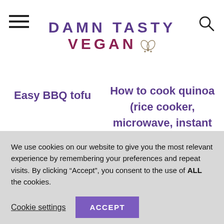DAMN TASTY VEGAN
Easy BBQ tofu
How to cook quinoa (rice cooker, microwave, instant pot and on the
We use cookies on our website to give you the most relevant experience by remembering your preferences and repeat visits. By clicking “Accept”, you consent to the use of ALL the cookies.
Cookie settings
ACCEPT